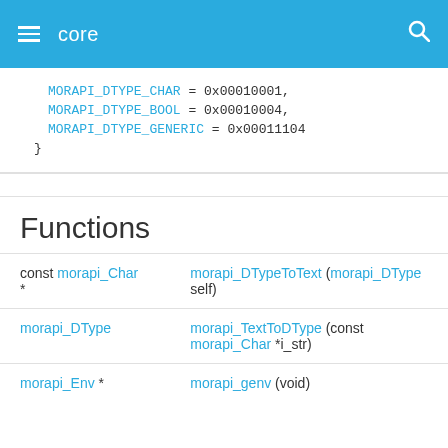core
MORAPI_DTYPE_CHAR = 0x00010001,
MORAPI_DTYPE_BOOL = 0x00010004,
MORAPI_DTYPE_GENERIC = 0x00011104
}
Functions
|  |  |
| --- | --- |
| const morapi_Char * | morapi_DTypeToText (morapi_DType self) |
| morapi_DType | morapi_TextToDType (const morapi_Char *i_str) |
| morapi_Env * | morapi_genv (void) |